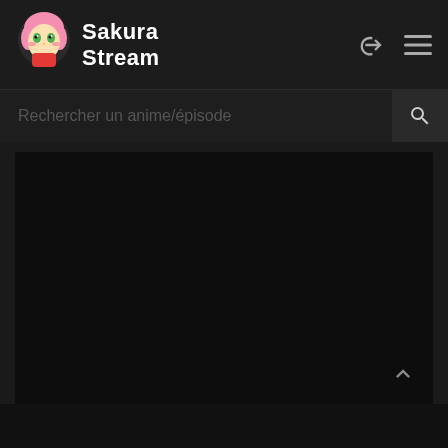SakuraStream — Website header with logo, login icon, and menu icon
Rechercher un anime/épisode
[Figure (screenshot): Dark video player area, mostly black with a faint scroll-up chevron arrow icon on the lower right]